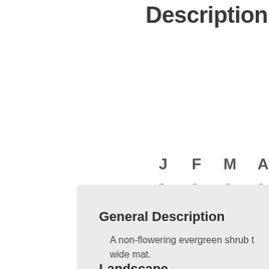Description
[Figure (infographic): Row of month letters J F M A with snowflake/flower icons below each, shown in light gray]
General Description
A non-flowering evergreen shrub t... wide mat.
Landscape
Great as ground cover, or for retai...
Cultivation